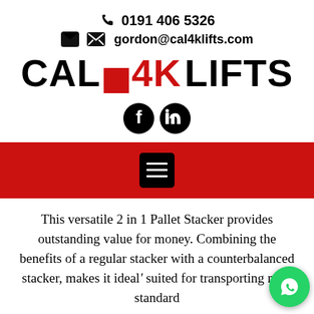0191 406 5326
gordon@cal4klifts.com
CAL 4K LIFTS
[Figure (logo): Facebook and LinkedIn social media icons in black circles]
[Figure (other): Red navigation banner with black hamburger menu button]
This versatile 2 in 1 Pallet Stacker provides outstanding value for money. Combining the benefits of a regular stacker with a counterbalanced stacker, makes it ideal suited for transporting non-standard
[Figure (logo): WhatsApp green circular button in bottom right corner]